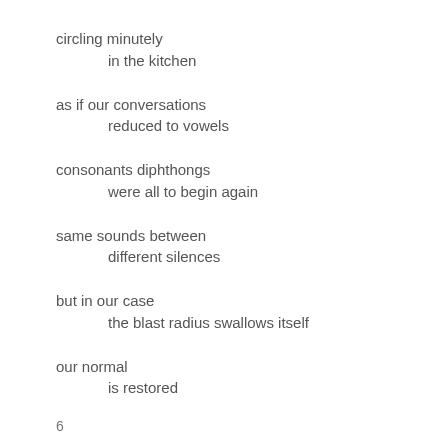circling minutely
    in the kitchen
as if our conversations
    reduced to vowels
consonants diphthongs
    were all to begin again
same sounds between
    different silences
but in our case
    the blast radius swallows itself
our normal
    is restored
6